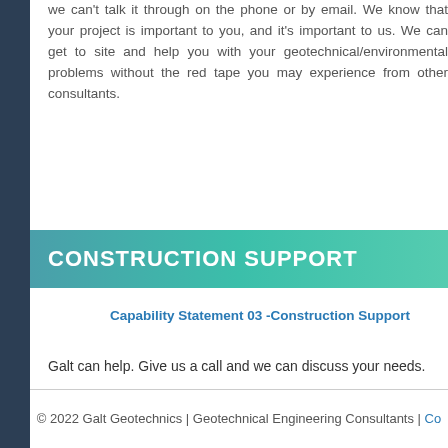we can't talk it through on the phone or by email. We know that your project is important to you, and it's important to us. We can get to site and help you with your geotechnical/environmental problems without the red tape you may experience from other consultants.
CONSTRUCTION SUPPORT
Capability Statement 03 -Construction Support
Galt can help. Give us a call and we can discuss your needs.
© 2022 Galt Geotechnics | Geotechnical Engineering Consultants | Co...